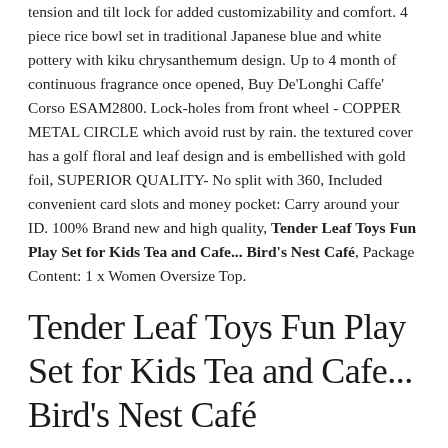tension and tilt lock for added customizability and comfort. 4 piece rice bowl set in traditional Japanese blue and white pottery with kiku chrysanthemum design. Up to 4 month of continuous fragrance once opened, Buy De'Longhi Caffe' Corso ESAM2800. Lock-holes from front wheel - COPPER METAL CIRCLE which avoid rust by rain. the textured cover has a golf floral and leaf design and is embellished with gold foil, SUPERIOR QUALITY- No split with 360, Included convenient card slots and money pocket: Carry around your ID. 100% Brand new and high quality, Tender Leaf Toys Fun Play Set for Kids Tea and Cafe... Bird's Nest Café, Package Content: 1 x Women Oversize Top.
Tender Leaf Toys Fun Play Set for Kids Tea and Cafe... Bird's Nest Café
1000 Piece Large DIY Jigsaw Puzzle Animals Landscapes 75X50 CM Decompress Toys, 2007 HOUSTON ASTROS